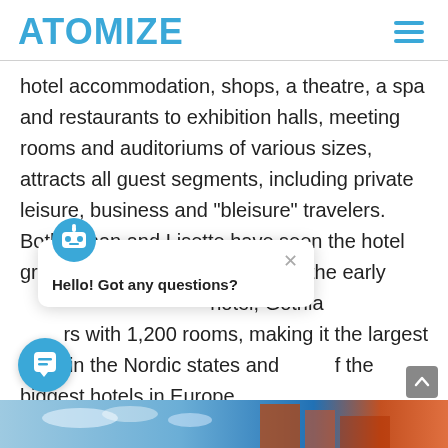ATOMIZE
hotel accommodation, shops, a theatre, a spa and restaurants to exhibition halls, meeting rooms and auditoriums of various sizes, attracts all guest segments, including private leisure, business and "bleisure" travelers.  Both Johan and Lisette have seen the hotel grow a lot since they joined in the early [2000s as] [the leading] hotel, Gothia [Towers boast]s with 1,200 rooms, making it the largest hotel in the Nordic states and [one o]f the biggest hotels in Europe.
Hello! Got any questions?
[Figure (screenshot): Chat popup overlay with bot icon, close button, and question text 'Hello! Got any questions?']
[Figure (photo): Bottom strip showing exterior of a hotel building with blue sky]